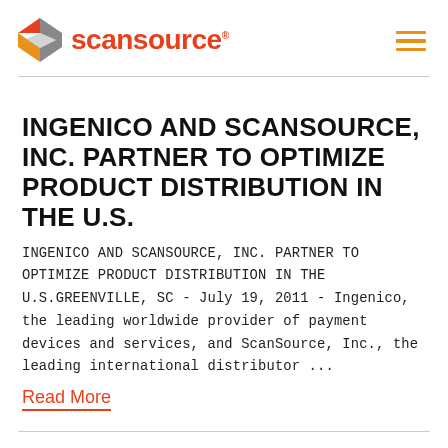[Figure (logo): ScanSource logo with orange/grey diamond icon and red 'scansource' wordmark]
INGENICO AND SCANSOURCE, INC. PARTNER TO OPTIMIZE PRODUCT DISTRIBUTION IN THE U.S.
INGENICO AND SCANSOURCE, INC. PARTNER TO OPTIMIZE PRODUCT DISTRIBUTION IN THE U.S.GREENVILLE, SC - July 19, 2011 - Ingenico, the leading worldwide provider of payment devices and services, and ScanSource, Inc., the leading international distributor ...
Read More